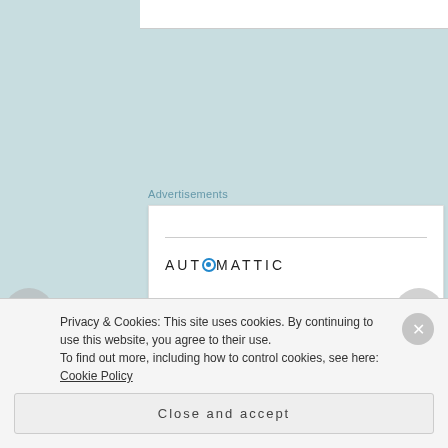Advertisements
[Figure (illustration): Automattic advertisement: logo at top, headline 'Build a better web and a better world.' with Apply button and circular photo of a person]
Privacy & Cookies: This site uses cookies. By continuing to use this website, you agree to their use.
To find out more, including how to control cookies, see here: Cookie Policy
Close and accept